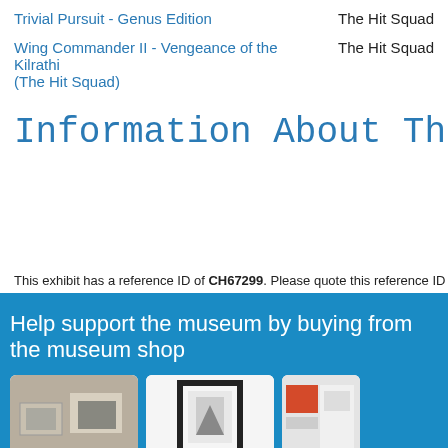Trivial Pursuit - Genus Edition    The Hit Squad
Wing Commander II - Vengeance of the Kilrathi (The Hit Squad)    The Hit Squad
Information About The Hit
This exhibit has a reference ID of CH67299. Please quote this reference ID in any commun
Help support the museum by buying from the museum shop
[Figure (photo): Three museum shop product images shown in white rounded-corner cards on a blue background]
[Figure (photo): Museum shop item 2 - framed artwork]
[Figure (photo): Museum shop item 3 - partially visible]